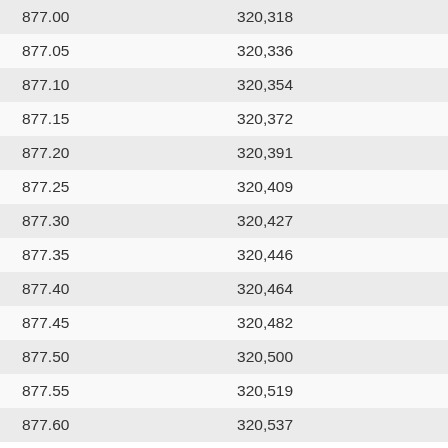| 877.00 | 320,318 |
| 877.05 | 320,336 |
| 877.10 | 320,354 |
| 877.15 | 320,372 |
| 877.20 | 320,391 |
| 877.25 | 320,409 |
| 877.30 | 320,427 |
| 877.35 | 320,446 |
| 877.40 | 320,464 |
| 877.45 | 320,482 |
| 877.50 | 320,500 |
| 877.55 | 320,519 |
| 877.60 | 320,537 |